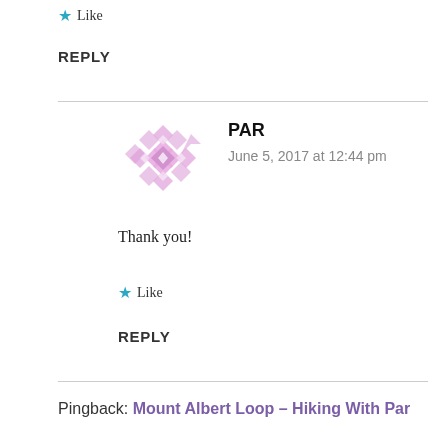★ Like
REPLY
PAR
June 5, 2017 at 12:44 pm
Thank you!
★ Like
REPLY
Pingback: Mount Albert Loop – Hiking With Par